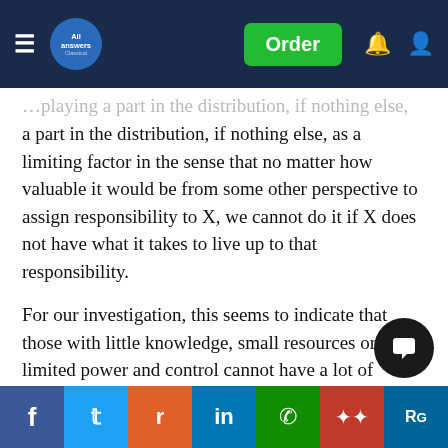All Answers Ltd — Order
a part in the distribution, if nothing else, as a limiting factor in the sense that no matter how valuable it would be from some other perspective to assign responsibility to X, we cannot do it if X does not have what it takes to live up to that responsibility.
For our investigation, this seems to indicate that those with little knowledge, small resources or limited power and control cannot have a lot of responsibility for guiding the development of AI in a certain direction.
In reality, things are a bit more complex, however. So far in this section, we have talked about ability as if it were a fixed unit. People have the abilities they have. What about when ability is not a fixed unit? Usually, it is not. Usually, ability can be ... ask the question: If we have independent moral reasons for